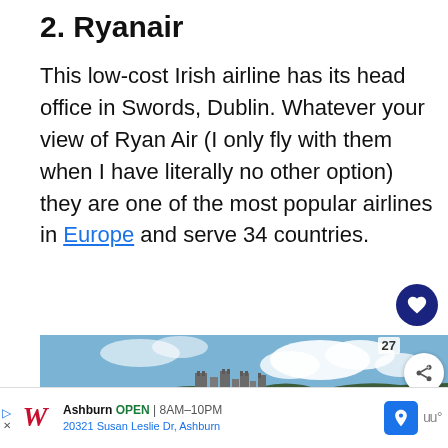2. Ryanair
This low-cost Irish airline has its head office in Swords, Dublin. Whatever your view of Ryan Air (I only fly with them when I have literally no other option) they are one of the most popular airlines in Europe and serve 34 countries.
[Figure (photo): Photograph of a ruined castle on a rocky cliff with green grass, under a blue sky with white clouds. A 'What's Next' overlay shows a thumbnail and text '35 Famous Ireland...' A share count of 27 is visible.]
[Figure (infographic): Advertisement bar for Walgreens in Ashburn showing OPEN 8AM-10PM, address 20321 Susan Leslie Dr, Ashburn, with navigation icon and weather widget.]